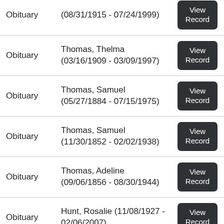Obituary — (08/31/1915 - 07/24/1999) — View Record
Obituary — Thomas, Thelma (03/16/1909 - 03/09/1997) — View Record
Obituary — Thomas, Samuel (05/27/1884 - 07/15/1975) — View Record
Obituary — Thomas, Samuel (11/30/1852 - 02/02/1938) — View Record
Obituary — Thomas, Adeline (09/06/1856 - 08/30/1944) — View Record
Obituary — Hunt, Rosalie (11/08/1927 - 02/06/2007) — View Record
Obituary — Walker, Marjorie — View